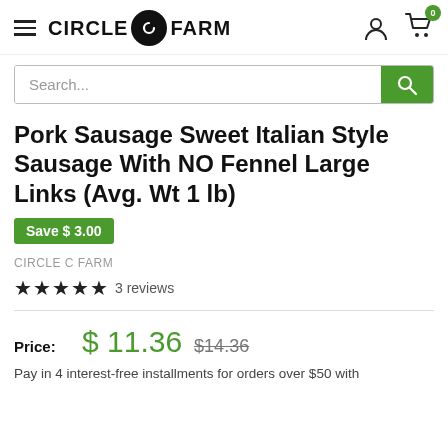CIRCLE C FARM — navigation header with hamburger menu, logo, user icon, and cart (0 items)
Search...
Pork Sausage Sweet Italian Style Sausage With NO Fennel Large Links (Avg. Wt 1 lb)
Save $ 3.00
CIRCLE C FARM
★★★★★ 3 reviews
Price: $ 11.36  $14.36
Pay in 4 interest-free installments for orders over $50 with